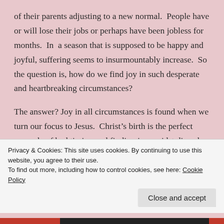of their parents adjusting to a new normal.  People have or will lose their jobs or perhaps have been jobless for months.  In  a season that is supposed to be happy and joyful, suffering seems to insurmountably increase.  So the question is, how do we find joy in such desperate and heartbreaking circumstances?
The answer? Joy in all circumstances is found when we turn our focus to Jesus.  Christ's birth is the perfect example of bad timing and finding joy amidst dismal situations.  Mary was a virgin who’s fiance’ thought she gave herself to another man.  Joseph married a woman
Privacy & Cookies: This site uses cookies. By continuing to use this website, you agree to their use.
To find out more, including how to control cookies, see here: Cookie Policy
Close and accept